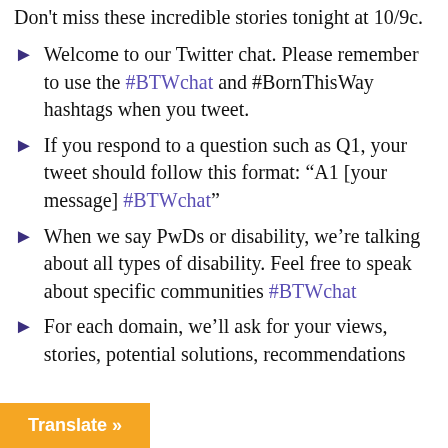Don't miss these incredible stories tonight at 10/9c.
Welcome to our Twitter chat. Please remember to use the #BTWchat and #BornThisWay hashtags when you tweet.
If you respond to a question such as Q1, your tweet should follow this format: “A1 [your message] #BTWchat”
When we say PwDs or disability, we’re talking about all types of disability. Feel free to speak about specific communities #BTWchat
For each domain, we’ll ask for your views, stories, potential solutions, recommendations
Translate »